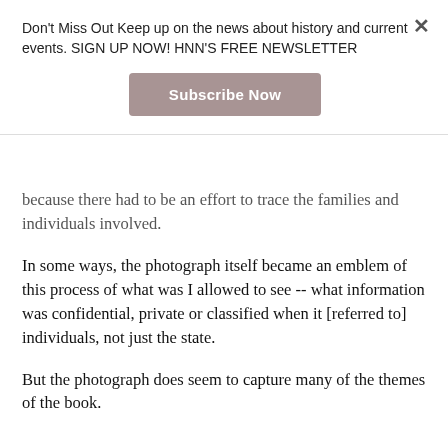Don't Miss Out Keep up on the news about history and current events. SIGN UP NOW! HNN'S FREE NEWSLETTER
[Figure (other): Subscribe Now button]
because there had to be an effort to trace the families and individuals involved.
In some ways, the photograph itself became an emblem of this process of what was I allowed to see -- what information was confidential, private or classified when it [referred to] individuals, not just the state.
But the photograph does seem to capture many of the themes of the book.